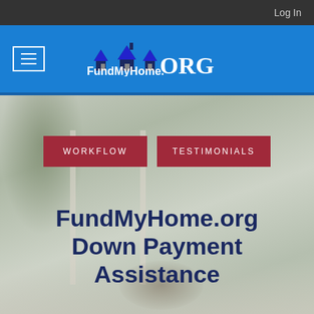Log In
[Figure (logo): FundMyHome.ORG logo with three house icons above text]
WORKFLOW
TESTIMONIALS
[Figure (photo): Outdoor patio background with white walls, plants, and wicker chairs]
FundMyHome.org Down Payment Assistance